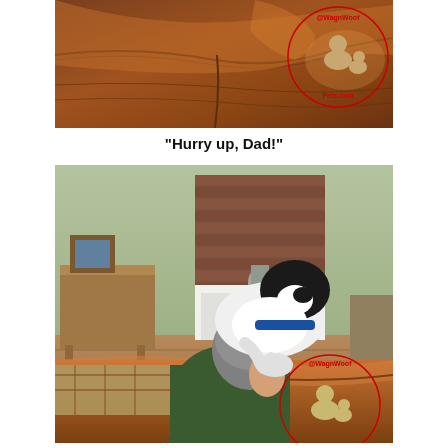[Figure (photo): Close-up photo of a brown leather sofa/couch surface with stitched seams visible. A watermark logo for WagnWoofPets.com is visible in the upper right corner showing cartoon dogs in red circular text.]
"Hurry up, Dad!"
[Figure (photo): Photo of a man reclining on a brown leather couch being nuzzled/licked by a black and white dog wearing a blue collar. The dog has its paw on the man's face. The room shows a fireplace with brick surround in the background, a wooden side table with a framed picture, and a patterned blanket on the couch. A watermark logo for WagnWoofPets.com appears in the lower right corner.]